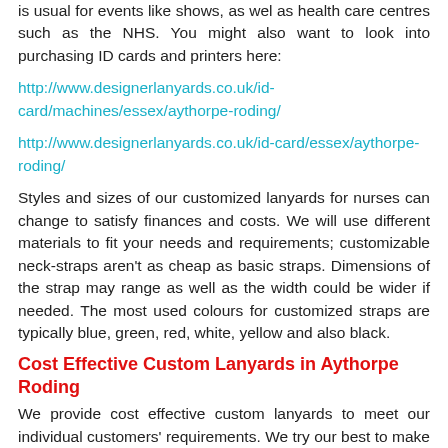is usual for events like shows, as wel as health care centres such as the NHS. You might also want to look into purchasing ID cards and printers here:
http://www.designerlanyards.co.uk/id-card/machines/essex/aythorpe-roding/
http://www.designerlanyards.co.uk/id-card/essex/aythorpe-roding/
Styles and sizes of our customized lanyards for nurses can change to satisfy finances and costs. We will use different materials to fit your needs and requirements; customizable neck-straps aren't as cheap as basic straps. Dimensions of the strap may range as well as the width could be wider if needed. The most used colours for customized straps are typically blue, green, red, white, yellow and also black.
Cost Effective Custom Lanyards in Aythorpe Roding
We provide cost effective custom lanyards to meet our individual customers' requirements. We try our best to make our prices as low as possible, whilst catering for your needs. Custom lanyards tend to cost more than basic ones due to the extra work which goes into